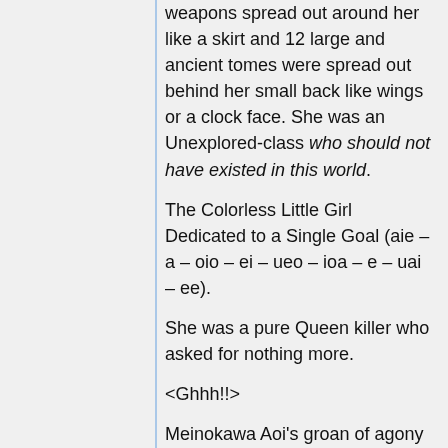weapons spread out around her like a skirt and 12 large and ancient tomes were spread out behind her small back like wings or a clock face. She was an Unexplored-class who should not have existed in this world.
The Colorless Little Girl Dedicated to a Single Goal (aie – a – oio – ei – ueo – ioa – e – uai – ee).
She was a pure Queen killer who asked for nothing more.
<Ghhh!!>
Meinokawa Aoi's groan of agony rang directly in Kyousuke's head.
<Curse you. This already!? But, boy, are you sure this was a good idea!? Thoughtlessly siding with whoever gives you strength and supports you is not the best ide-...kssshhh!!!???>